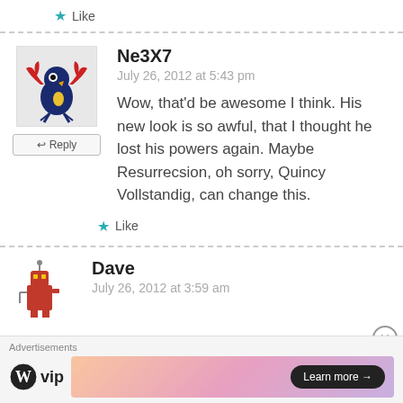★ Like
[Figure (illustration): Avatar image of a cartoon crab-bird creature in blue and red]
↩ Reply
Ne3X7
July 26, 2012 at 5:43 pm
Wow, that'd be awesome I think. His new look is so awful, that I thought he lost his powers again. Maybe Resurrecsion, oh sorry, Quincy Vollstandig, can change this.
★ Like
[Figure (illustration): Avatar image of a small cartoon red robot character]
Dave
July 26, 2012 at 3:59 am
Advertisements
[Figure (logo): WordPress VIP logo]
[Figure (illustration): Advertisement banner with gradient and Learn more button]